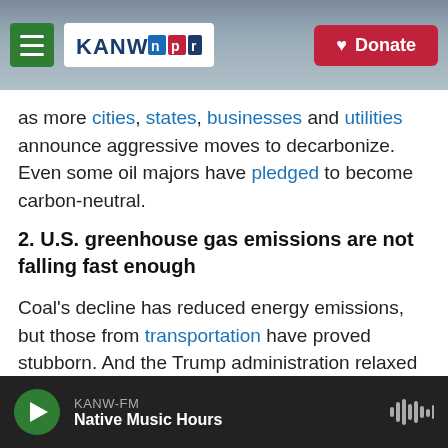KANW NPR | Donate
as more cities, states, businesses and utilities announce aggressive moves to decarbonize. Even some oil majors have pledged to become carbon-neutral.
2. U.S. greenhouse gas emissions are not falling fast enough
Coal's decline has reduced energy emissions, but those from transportation have proved stubborn. And the Trump administration relaxed many climate regulations, including on tailpipe emissions. Overall, though, U.S. greenhouse emissions are
KANW-FM | Native Music Hours